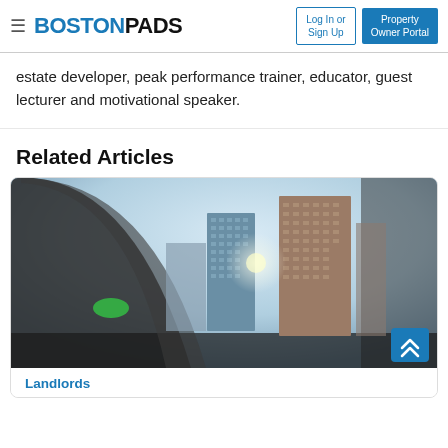BOSTONPADS | Log In or Sign Up | Property Owner Portal
estate developer, peak performance trainer, educator, guest lecturer and motivational speaker.
Related Articles
[Figure (photo): Fish-eye lens photograph of Boston city skyline looking up at tall skyscrapers with a curved arch in the foreground and lens flare visible.]
Landlords